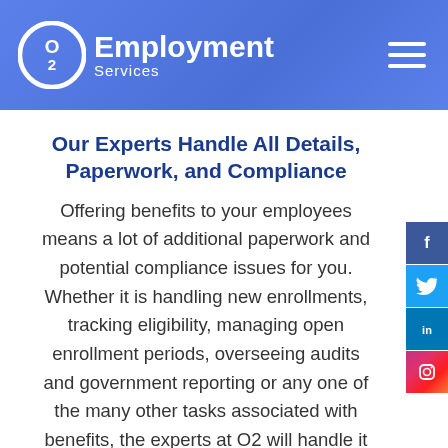O2 Employment Services
Our Experts Handle All Details, Paperwork, and Compliance
Offering benefits to your employees means a lot of additional paperwork and potential compliance issues for you. Whether it is handling new enrollments, tracking eligibility, managing open enrollment periods, overseeing audits and government reporting or any one of the many other tasks associated with benefits, the experts at O2 will handle it all for